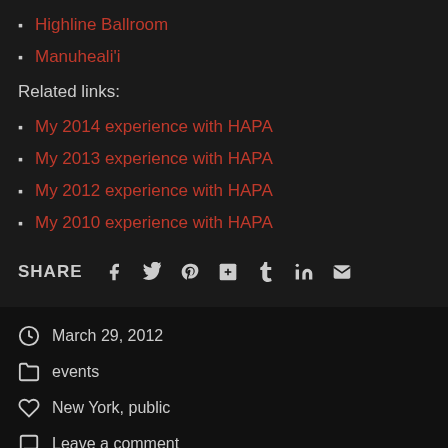Highline Ballroom
Manuheali'i
Related links:
My 2014 experience with HAPA
My 2013 experience with HAPA
My 2012 experience with HAPA
My 2010 experience with HAPA
SHARE
March 29, 2012
events
New York, public
Leave a comment